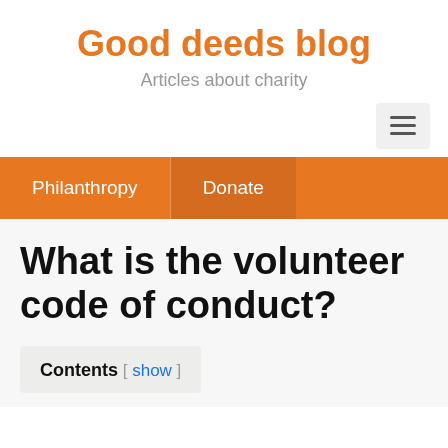Good deeds blog
Articles about charity
[Figure (other): Hamburger menu button icon with three horizontal lines]
Philanthropy
Donate
What is the volunteer code of conduct?
Contents [ show ]